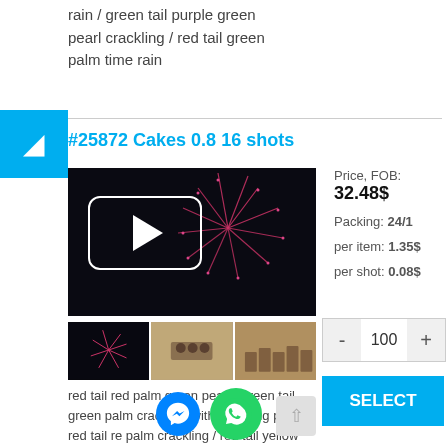rain / green tail purple green pearl crackling / red tail green palm time rain
#25872 Cakes 0.8 16 shots
[Figure (photo): Video thumbnail of fireworks display with play button overlay]
[Figure (photo): Three small thumbnail images: firework burst, hands with fireworks, tube fireworks]
red tail red palm green pearl / green tail green palm crackling with crackling post / red tail red palm crackling / red tail yellow
Price, FOB: 32.48$
Packing: 24/1
per item: 1.35$
per shot: 0.08$
- 100 +
SELECT